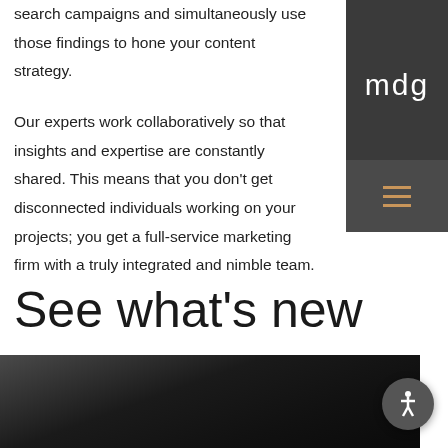search campaigns and simultaneously use those findings to hone your content strategy.
Our experts work collaboratively so that insights and expertise are constantly shared. This means that you don't get disconnected individuals working on your projects; you get a full-service marketing firm with a truly integrated and nimble team.
[Figure (logo): MDG logo — white letters 'mdg' on dark gray background with hamburger menu icon below in slightly lighter gray, with orange/tan lines]
See what's new
[Figure (photo): Dark, moody photograph partially visible at bottom of page — appears to show a dark textured surface or object]
[Figure (other): Circular accessibility icon button with person figure, dark gray background, bottom right corner]